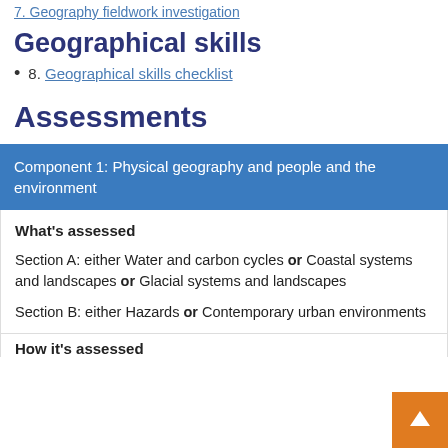7. Geography fieldwork investigation
Geographical skills
8. Geographical skills checklist
Assessments
Component 1: Physical geography and people and the environment
What's assessed
Section A: either Water and carbon cycles or Coastal systems and landscapes or Glacial systems and landscapes
Section B: either Hazards or Contemporary urban environments
How it's assessed